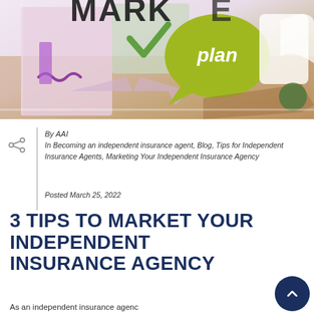[Figure (photo): Colorful marketing concept photo showing cut-out shapes including a green speech bubble with 'plan' written in white, a checkmark, arrows, and the word 'MARKET' partially visible at the top, arranged on a wooden surface]
By AAI
In Becoming an independent insurance agent, Blog, Tips for Independent Insurance Agents, Marketing Your Independent Insurance Agency
Posted March 25, 2022
3 TIPS TO MARKET YOUR INDEPENDENT INSURANCE AGENCY
As an independent insurance agenc